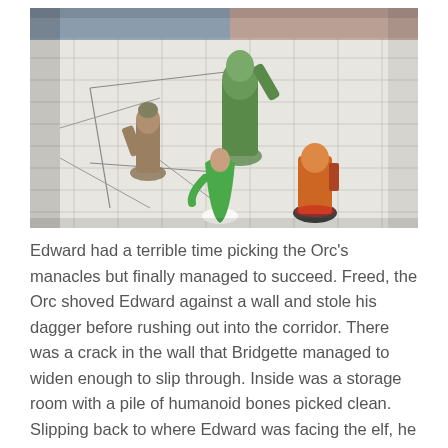[Figure (photo): A tabletop RPG battle scene photographed from above showing several painted miniature figurines on a gridded paper map. Visible miniatures include a green-robed figure, an orange/red armored figure on a black base, a brown/tan armored warrior, and a large dark green orc/troll figure. The map shows pencil-drawn corridors and rooms.]
Edward had a terrible time picking the Orc's manacles but finally managed to succeed. Freed, the Orc shoved Edward against a wall and stole his dagger before rushing out into the corridor. There was a crack in the wall that Bridgette managed to widen enough to slip through. Inside was a storage room with a pile of humanoid bones picked clean. Slipping back to where Edward was facing the elf, he was/she realised that...